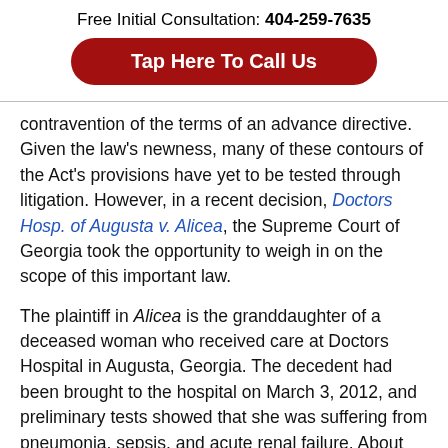Free Initial Consultation: 404-259-7635
Tap Here To Call Us
contravention of the terms of an advance directive. Given the law’s newness, many of these contours of the Act’s provisions have yet to be tested through litigation. However, in a recent decision, Doctors Hosp. of Augusta v. Alicea, the Supreme Court of Georgia took the opportunity to weigh in on the scope of this important law.
The plaintiff in Alicea is the granddaughter of a deceased woman who received care at Doctors Hospital in Augusta, Georgia. The decedent had been brought to the hospital on March 3, 2012, and preliminary tests showed that she was suffering from pneumonia, sepsis, and acute renal failure. About two years earlier, the